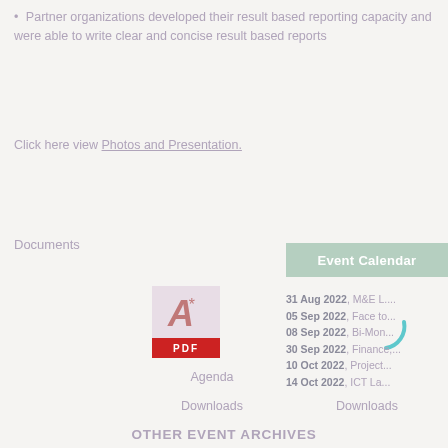Partner organizations developed their result based reporting capacity and were able to write clear and concise result based reports
Click here view Photos and Presentation.
Documents
[Figure (other): Event Calendar button (green/sage colored header bar)]
[Figure (other): PDF document icon with Acrobat symbol and red PDF label]
[Figure (other): Loading spinner arc (teal/cyan color)]
Agenda
31 Aug 2022, M&E L....
05 Sep 2022, Face to...
08 Sep 2022, Bi-Mon...
30 Sep 2022, Finance,...
10 Oct 2022, Project...
14 Oct 2022, ICT La...
Downloads
Downloads
OTHER EVENT ARCHIVES